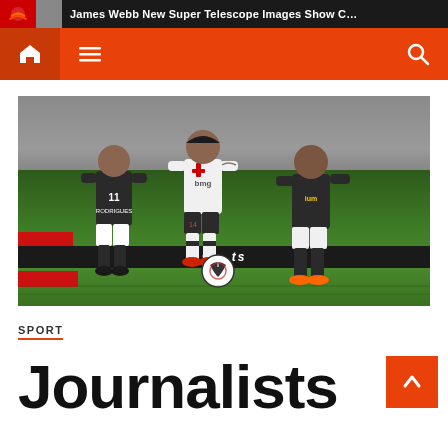James Webb New Super Telescope Images Show C…
[Figure (photo): Soccer match photo showing three players on a football pitch. A player in white Vasco da Gama kit (number 14, sponsor bmg) dribbles between two players in black and white Botafogo kits (number 11 visible on left player). Stadium stands visible in background, advertising boards along the side of the pitch.]
SPORT
Journalists